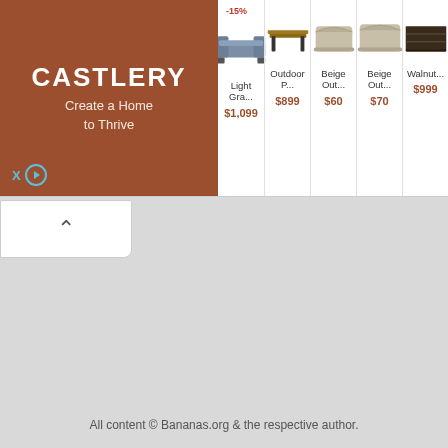[Figure (screenshot): Castlery furniture advertisement banner with logo on left (brown background, white text 'CASTLERY / Create a Home to Thrive') and five product listings: Light Gra... $1,099 (-15%), Outdoor P... $899, Beige Out... $60, Beige Out... $70, Walnut... $999]
[Figure (other): Collapse/minimize button with upward-pointing chevron arrow]
All content © Bananas.org & the respective author.